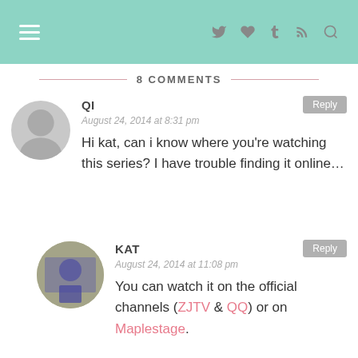navigation header with hamburger menu and icons
8 COMMENTS
QI
August 24, 2014 at 8:31 pm
Hi kat, can i know where you're watching this series? I have trouble finding it online…
KAT
August 24, 2014 at 11:08 pm
You can watch it on the official channels (ZJTV & QQ) or on Maplestage.